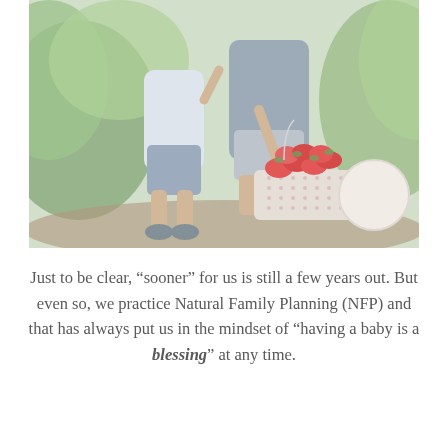[Figure (photo): A child and adult crouching in a strawberry field, picking strawberries into a white plastic basket/colander. The scene is outdoors with green foliage in the background.]
Just to be clear, “sooner” for us is still a few years out. But even so, we practice Natural Family Planning (NFP) and that has always put us in the mindset of “having a baby is a blessing” at any time.